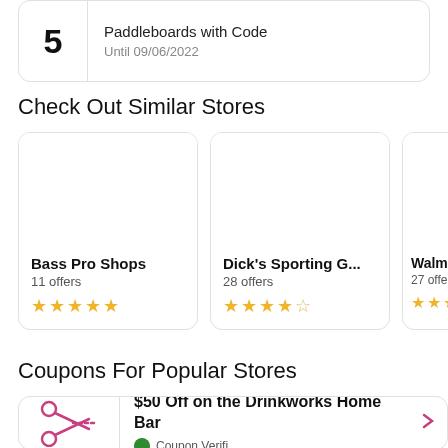5 | Paddleboards with Code | Until 09/06/2022
Check Out Similar Stores
Bass Pro Shops
11 offers
★★★★★
Dick's Sporting G...
28 offers
★★★★☆
Walmart
27 offers
★★★★
Coupons For Popular Stores
$50 Off on the Drinkworks Home Bar
Coupon Verified...